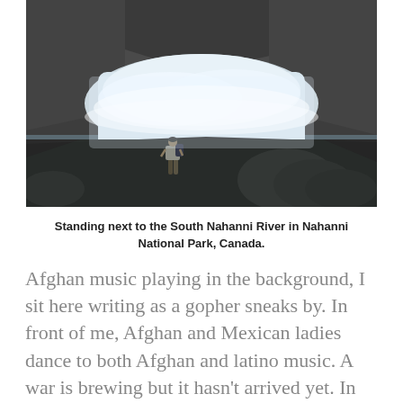[Figure (photo): A person with a backpack standing on dark rocks next to the rushing, churning South Nahanni River, with rocky cliffs in the background. Nahanni National Park, Canada.]
Standing next to the South Nahanni River in Nahanni National Park, Canada.
Afghan music playing in the background, I sit here writing as a gopher sneaks by. In front of me, Afghan and Mexican ladies dance to both Afghan and latino music. A war is brewing but it hasn't arrived yet. In fact, It's probably the only time that innocent villagers hope the war comes